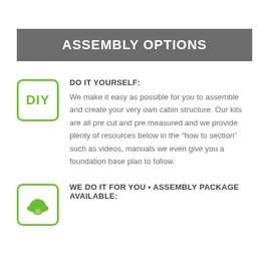ASSEMBLY OPTIONS
DO IT YOURSELF:
We make it easy as possible for you to assemble and create your very own cabin structure. Our kits are all pre cut and pre measured and we provide plenty of resources below in the “how to section” such as videos, manuals we even give you a foundation base plan to follow.
WE DO IT FOR YOU • ASSEMBLY PACKAGE AVAILABLE: